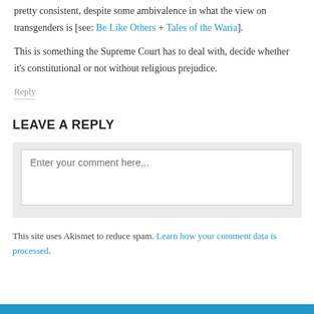pretty consistent, despite some ambivalence in what the view on transgenders is [see: Be Like Others + Tales of the Waria].
This is something the Supreme Court has to deal with, decide whether it's constitutional or not without religious prejudice.
Reply
LEAVE A REPLY
Enter your comment here...
This site uses Akismet to reduce spam. Learn how your comment data is processed.